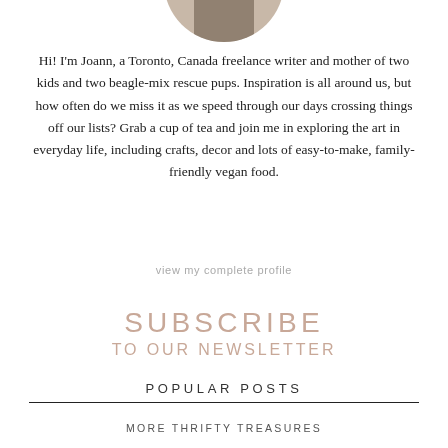[Figure (photo): Circular cropped photo of a person, partially visible at the top of the page]
Hi! I'm Joann, a Toronto, Canada freelance writer and mother of two kids and two beagle-mix rescue pups. Inspiration is all around us, but how often do we miss it as we speed through our days crossing things off our lists? Grab a cup of tea and join me in exploring the art in everyday life, including crafts, decor and lots of easy-to-make, family-friendly vegan food.
view my complete profile
SUBSCRIBE TO OUR NEWSLETTER
POPULAR POSTS
MORE THRIFTY TREASURES